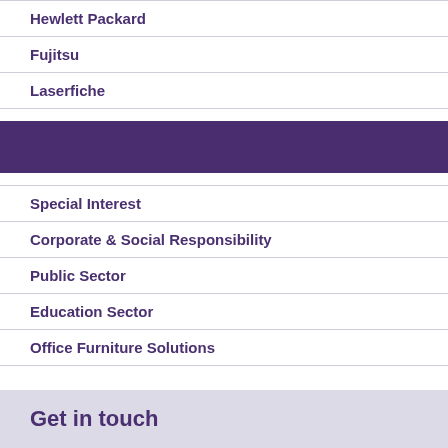Hewlett Packard
Fujitsu
Laserfiche
Special Interest
Corporate & Social Responsibility
Public Sector
Education Sector
Office Furniture Solutions
Get in touch